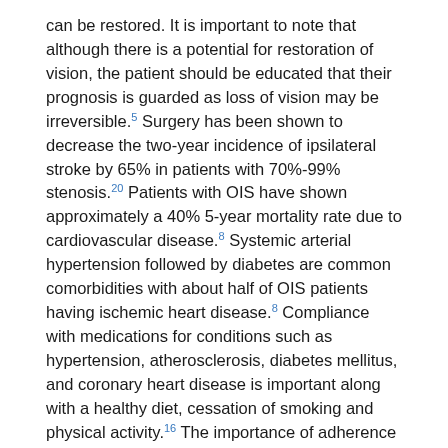can be restored. It is important to note that although there is a potential for restoration of vision, the patient should be educated that their prognosis is guarded as loss of vision may be irreversible.⁵ Surgery has been shown to decrease the two-year incidence of ipsilateral stroke by 65% in patients with 70%-99% stenosis.²⁰ Patients with OIS have shown approximately a 40% 5-year mortality rate due to cardiovascular disease.⁸ Systemic arterial hypertension followed by diabetes are common comorbidities with about half of OIS patients having ischemic heart disease.⁸ Compliance with medications for conditions such as hypertension, atherosclerosis, diabetes mellitus, and coronary heart disease is important along with a healthy diet, cessation of smoking and physical activity.¹⁶ The importance of adherence can be promoted by the optometrist during follow-up care with these patients.
This patient was referred to a retinal specialist for further management. He was given an injection of 1.25mg Bevacizumab for the anterior segment neovascularization and will return for repeat injections as necessary. The patient was also sent for a timely carotid Doppler which revealed 90% to 99% stenosis of the left